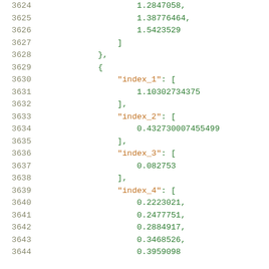Code listing showing JSON data with index keys and numeric array values, lines 3624-3644